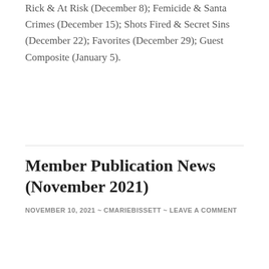Rick & At Risk (December 8); Femicide & Santa Crimes (December 15); Shots Fired & Secret Sins (December 22); Favorites (December 29); Guest Composite (January 5).
Member Publication News (November 2021)
NOVEMBER 10, 2021 ~ CMARIEBISSETT ~ LEAVE A COMMENT